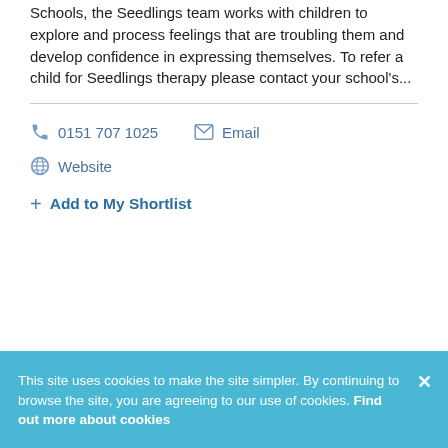Schools, the Seedlings team works with children to explore and process feelings that are troubling them and develop confidence in expressing themselves. To refer a child for Seedlings therapy please contact your school's...
0151 707 1025   Email   Website
+ Add to My Shortlist
This site uses cookies to make the site simpler. By continuing to browse the site, you are agreeing to our use of cookies. Find out more about cookies